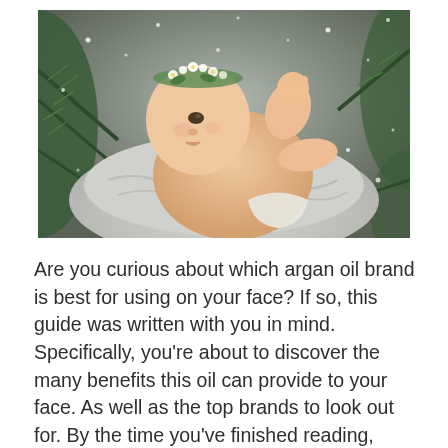[Figure (photo): A newborn baby wearing a floral crown made of small white flowers and greenery, lying on a soft fluffy grey blanket surrounded by pine branches. The baby is looking upward with one fist raised. Snowflakes are visible in the background.]
Are you curious about which argan oil brand is best for using on your face? If so, this guide was written with you in mind. Specifically, you're about to discover the many benefits this oil can provide to your face. As well as the top brands to look out for. By the time you've finished reading,